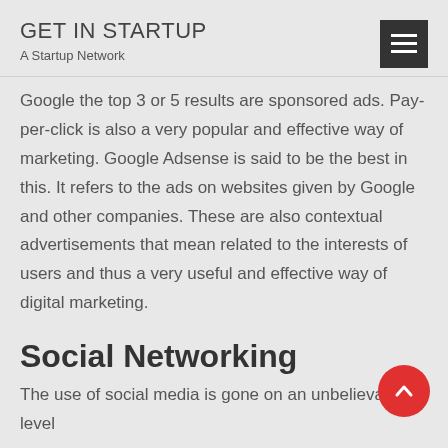GET IN STARTUP
A Startup Network
Google the top 3 or 5 results are sponsored ads. Pay-per-click is also a very popular and effective way of marketing. Google Adsense is said to be the best in this. It refers to the ads on websites given by Google and other companies. These are also contextual advertisements that mean related to the interests of users and thus a very useful and effective way of digital marketing.
Social Networking
The use of social media is gone on an unbelievable level